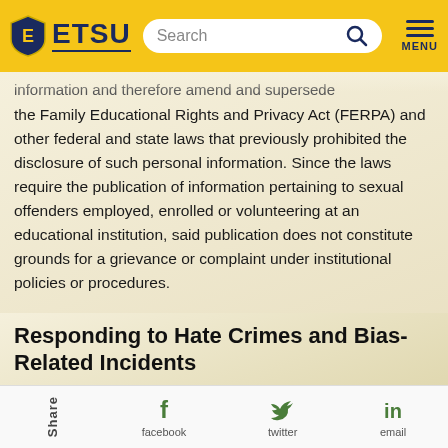ETSU — Search — MENU
information and therefore amend and supersede the Family Educational Rights and Privacy Act (FERPA) and other federal and state laws that previously prohibited the disclosure of such personal information. Since the laws require the publication of information pertaining to sexual offenders employed, enrolled or volunteering at an educational institution, said publication does not constitute grounds for a grievance or complaint under institutional policies or procedures.
Responding to Hate Crimes and Bias-Related Incidents
Share  facebook  twitter  email